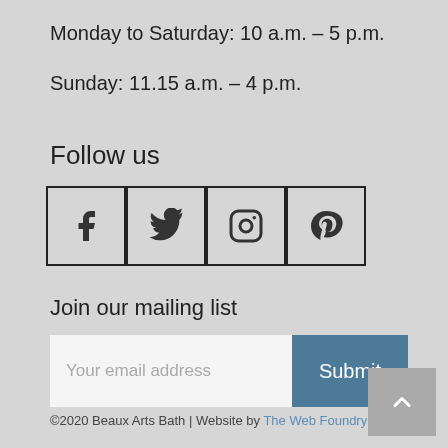Monday to Saturday: 10 a.m. – 5 p.m.
Sunday: 11.15 a.m. – 4 p.m.
Follow us
[Figure (infographic): Four social media icon buttons in outlined squares: Facebook, Twitter, Instagram, Pinterest]
Join our mailing list
Your email address [input field] Submit [button]
©2020 Beaux Arts Bath | Website by The Web Foundry